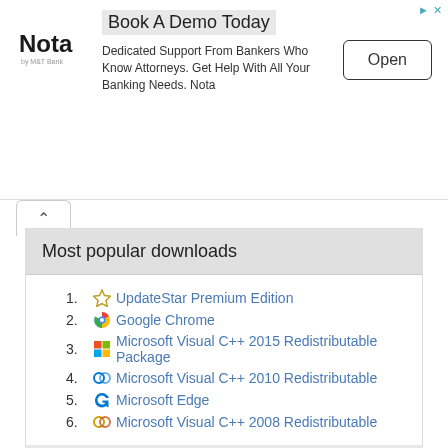[Figure (other): Advertisement banner for Nota by M&T Bank with 'Book A Demo Today' headline, body text 'Dedicated Support From Bankers Who Know Attorneys. Get Help With All Your Banking Needs. Nota', and an 'Open' button]
Most popular downloads
1. UpdateStar Premium Edition
2. Google Chrome
3. Microsoft Visual C++ 2015 Redistributable Package
4. Microsoft Visual C++ 2010 Redistributable
5. Microsoft Edge
6. Microsoft Visual C++ 2008 Redistributable
View more »
Never miss an update for Microsoft Edge again with UpdateStar